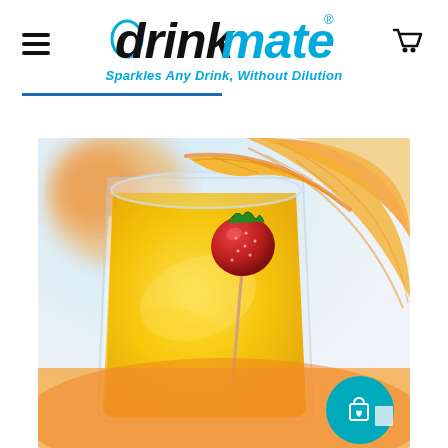drinkmate® — Sparkles Any Drink, Without Dilution
[Figure (photo): Close-up photo of a glass of sparkling orange/yellow juice drink garnished with an orange slice and a sliced strawberry on a stick, with a blurred orange fruit in the background. The drink is bright yellow. A teal shopping bag icon appears in the bottom-right corner overlay.]